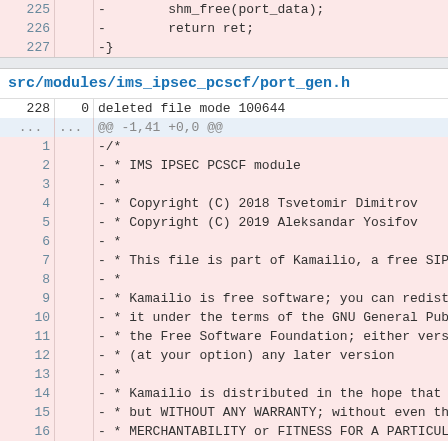| line | line2 | code |
| --- | --- | --- |
| 225 |  | -        shm_free(port_data); |
| 226 |  | -        return ret; |
| 227 |  | -} |
src/modules/ims_ipsec_pcscf/port_gen.h
| line | line2 | code |
| --- | --- | --- |
| 228 | 0 | deleted file mode 100644 |
| .... | .... | @@ -1,41 +0,0 @@ |
| 1 |  | -/* |
| 2 |  | - * IMS IPSEC PCSCF module |
| 3 |  | - * |
| 4 |  | - * Copyright (C) 2018 Tsvetomir Dimitrov |
| 5 |  | - * Copyright (C) 2019 Aleksandar Yosifov |
| 6 |  | - * |
| 7 |  | - * This file is part of Kamailio, a free SIP serve |
| 8 |  | - * |
| 9 |  | - * Kamailio is free software; you can redistribute |
| 10 |  | - * it under the terms of the GNU General Public Li |
| 11 |  | - * the Free Software Foundation; either version 2 |
| 12 |  | - * (at your option) any later version |
| 13 |  | - * |
| 14 |  | - * Kamailio is distributed in the hope that it wil |
| 15 |  | - * but WITHOUT ANY WARRANTY; without even the impl |
| 16 |  | - * MERCHANTABILITY or FITNESS FOR A PARTICULAR PUR |